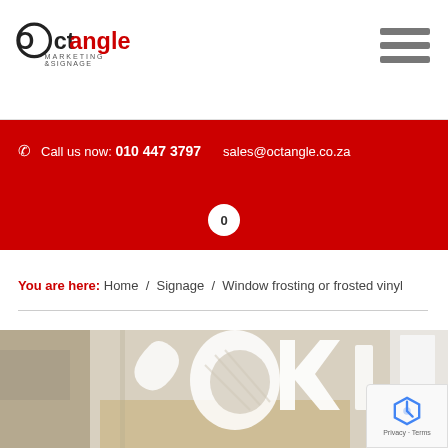[Figure (logo): Octangle Marketing & Signage logo — circular graphic with 'Octangle' text and 'MARKETING &SIGNAGE' below]
Call us now: 010 447 3797  sales@octangle.co.za
You are here: Home / Signage / Window frosting or frosted vinyl
[Figure (photo): Photo of frosted vinyl window signage in an office, showing decorative white frosted lettering and design on glass partition]